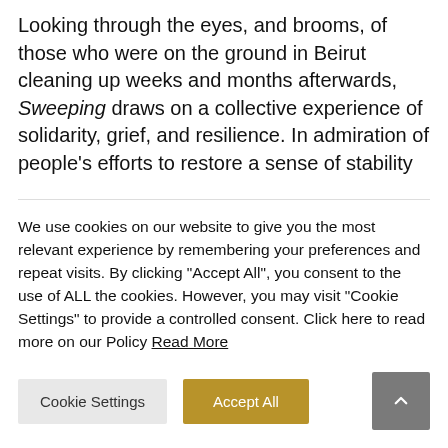Looking through the eyes, and brooms, of those who were on the ground in Beirut cleaning up weeks and months afterwards, Sweeping draws on a collective experience of solidarity, grief, and resilience. In admiration of people's efforts to restore a sense of stability and safety through sweeping, the exhibition questions whether there is still a place for hope amid all the destruction?

The exhibition also features a performance of the artist's personal experience in response to
We use cookies on our website to give you the most relevant experience by remembering your preferences and repeat visits. By clicking "Accept All", you consent to the use of ALL the cookies. However, you may visit "Cookie Settings" to provide a controlled consent. Click here to read more on our Policy Read More